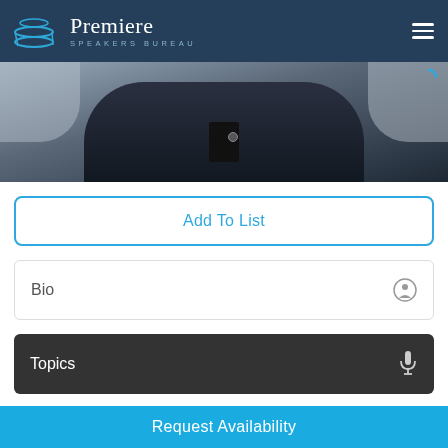Premiere Speakers Bureau
[Figure (photo): Partial photo of a person wearing a dark navy blazer/jacket, cropped to show torso and lower face/neck area, against a light grey background.]
Add To List
Bio
Topics
Videos
Books
Request Availability